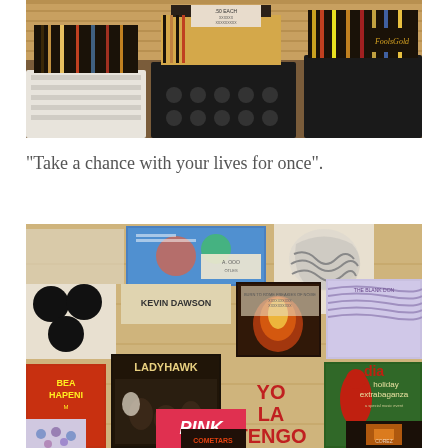[Figure (photo): Photograph of vinyl records in milk crates and storage bins, showing record sleeves including one labeled 'FoolsGold', with a sign reading '.50 EACH']
“Take a chance with your lives for once”.
[Figure (photo): Photograph of a collage of band posters and flyers on a wood-paneled wall, including posters for Ladyhawk, Yo La Tengo, Pink, Bea Hapeni, and 'Dia Holiday Extrabaganza']